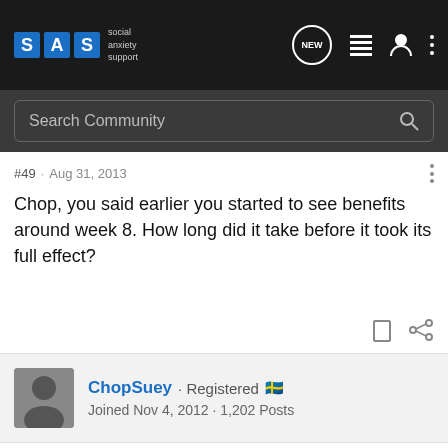SAS social anxiety support
Search Community
#49 · Aug 31, 2013
Chop, you said earlier you started to see benefits around week 8. How long did it take before it took its full effect?
ChopSuey · Registered 🇸🇪
Joined Nov 4, 2012 · 1,202 Posts
Discussion Starter · #50 · Aug 31, 2013